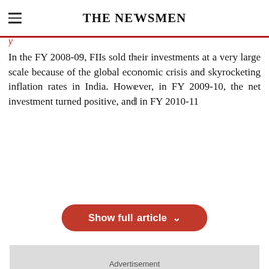THE NEWSMEN
In the FY 2008-09, FIIs sold their investments at a very large scale because of the global economic crisis and skyrocketing inflation rates in India. However, in FY 2009-10, the net investment turned positive, and in FY 2010-11
[Figure (other): Red rounded-rectangle button labeled 'Show full article' with a downward chevron]
[Figure (other): Light grey advertisement placeholder box with text 'Advertisement']
[Figure (other): Red speech bubble icon with three dots indicating comments]
[Figure (other): Dark red square back-to-top button with upward caret arrow]
tags